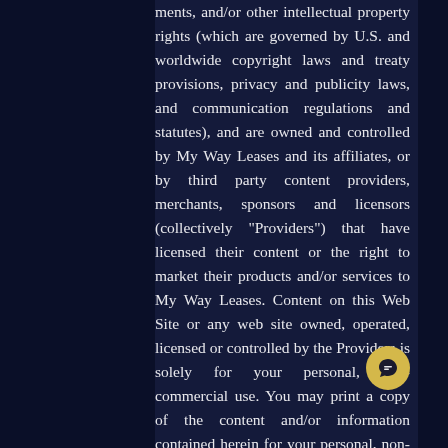ments, and/or other intellectual property rights (which are governed by U.S. and worldwide copyright laws and treaty provisions, privacy and publicity laws, and communication regulations and statutes), and are owned and controlled by My Way Leases and its affiliates, or by third party content providers, merchants, sponsors and licensors (collectively "Providers") that have licensed their content or the right to market their products and/or services to My Way Leases. Content on this Web Site or any web site owned, operated, licensed or controlled by the Providers is solely for your personal, non-commercial use. You may print a copy of the content and/or information contained herein for your personal, non-commercial use only. You may not copy, reproduce, republish, upload, post, transmit, distribute, and/or exploit the content or information in any way (including by e-mail or any other means) for commercial use without My Way Leases prior written consent. Your modification of the content, use of the content on any other web site or networked computer environment, or use of the content for any purpose other than for personal